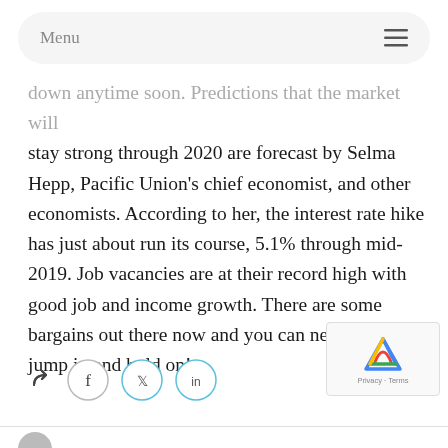Menu
down anytime soon. Predictions that the market will stay strong through 2020 are forecast by Selma Hepp, Pacific Union's chief economist, and other economists. According to her, the interest rate hike has just about run its course, 5.1% through mid-2019. Job vacancies are at their record high with good job and income growth. There are some bargains out there now and you can negotiate. So jump in and hold on!
[Figure (other): Social sharing icons: share arrow, Facebook (f), Twitter (bird), LinkedIn (in)]